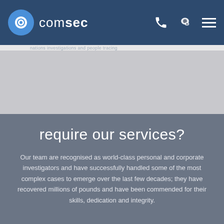comsec
nations investigations and people tracing
require our services?
Our team are recognised as world-class personal and corporate investigators and have successfully handled some of the most complex cases to emerge over the last few decades; they have recovered millions of pounds and have been commended for their skills, dedication and integrity.